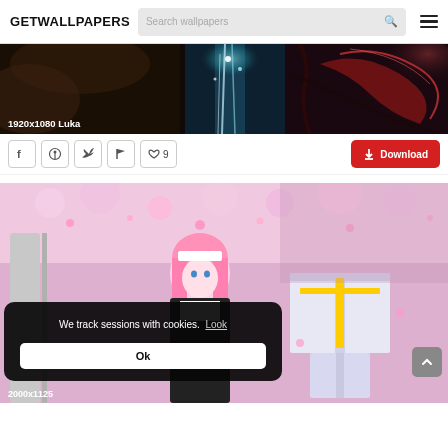GETWALLPAPERS  Search wallpapers  ☰
[Figure (screenshot): Dark fantasy anime wallpaper 1920x1080 Luka with glowing blue waterfall and red ribbon elements]
1920x1080 Luka
Share on Facebook | Share on Pinterest | Share on Twitter | Flag | ♡ 9 | Download
[Figure (screenshot): Anime girl with pink hair in black and white outfit among cherry blossoms with gift boxes, 2000x1125]
We track sessions with cookies. Look
Ok
2000x1125